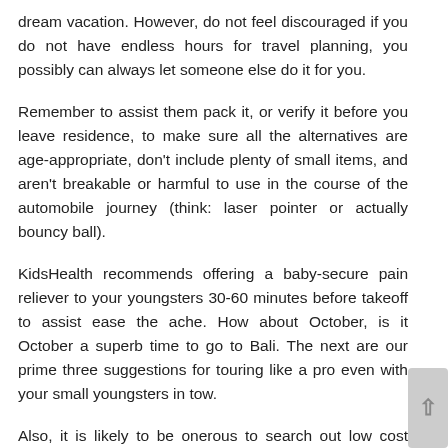dream vacation. However, do not feel discouraged if you do not have endless hours for travel planning, you possibly can always let someone else do it for you.
Remember to assist them pack it, or verify it before you leave residence, to make sure all the alternatives are age-appropriate, don't include plenty of small items, and aren't breakable or harmful to use in the course of the automobile journey (think: laser pointer or actually bouncy ball).
KidsHealth recommends offering a baby-secure pain reliever to your youngsters 30-60 minutes before takeoff to assist ease the ache. How about October, is it October a superb time to go to Bali. The next are our prime three suggestions for touring like a pro even with your small youngsters in tow.
Also, it is likely to be onerous to search out low cost direct flights nearer to the departure time, but layovers are fairly harsh for a household. I do know many